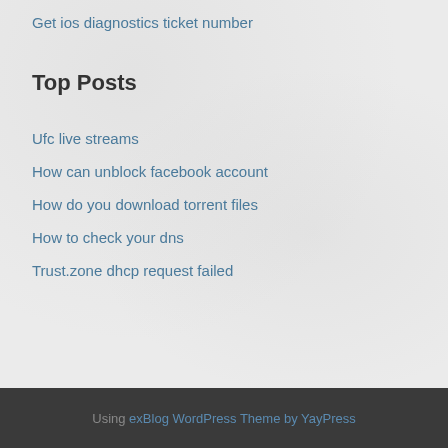Get ios diagnostics ticket number
Top Posts
Ufc live streams
How can unblock facebook account
How do you download torrent files
How to check your dns
Trust.zone dhcp request failed
Using exBlog WordPress Theme by YayPress